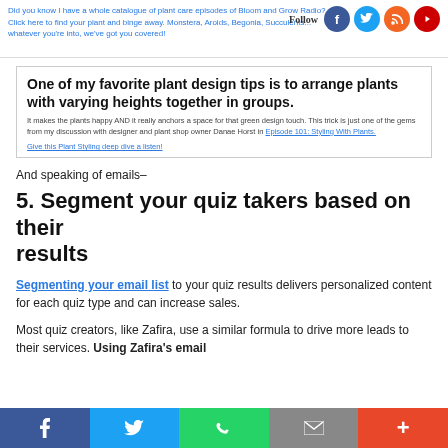Did you know I have a whole catalogue of plant care episodes of Bloom and Grow Radio? Click here to find your plant and binge away. Monsters, Aroids, Begonia, Succulents... whatever you're into, we've got you covered! Follow
One of my favorite plant design tips is to arrange plants with varying heights together in groups.
It makes the plants happy AND it really anchors a space for that green design touch. This trick is just one of the gems from my discussion with designer and plant shop owner Danae Horst in Episode 101: Styling With Plants.
Give this Plant Styling deep dive a listen!
And speaking of emails–
5. Segment your quiz takers based on their results
Segmenting your email list to your quiz results delivers personalized content for each quiz type and can increase sales.
Most quiz creators, like Zafira, use a similar formula to drive more leads to their services. Using Zafira's email
f  Twitter  WhatsApp  Email  +